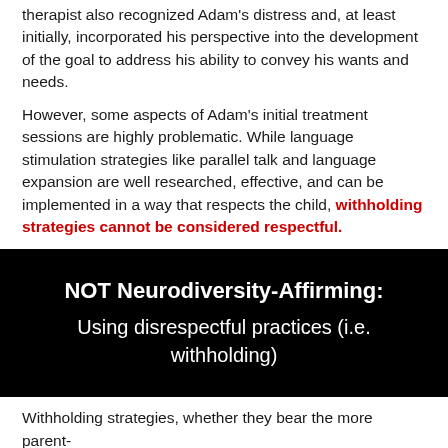therapist also recognized Adam's distress and, at least initially, incorporated his perspective into the development of the goal to address his ability to convey his wants and needs.
However, some aspects of Adam's initial treatment sessions are highly problematic. While language stimulation strategies like parallel talk and language expansion are well researched, effective, and can be implemented in a way that respects the child, withholding strategies cannot be considered respectful.
[Figure (infographic): Black box with white text reading 'NOT Neurodiversity-Affirming: Using disrespectful practices (i.e. withholding)']
Withholding strategies, whether they bear the more parent-